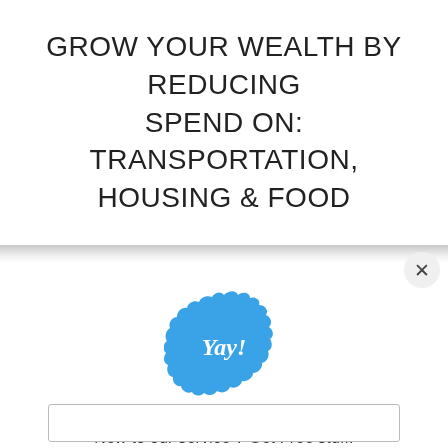GROW YOUR WEALTH BY REDUCING SPEND ON: TRANSPORTATION, HOUSING & FOOD
[Figure (illustration): Blue scalloped badge/seal with white italic text 'Yay!' in the center]
New to our service ? Get Free stuff!